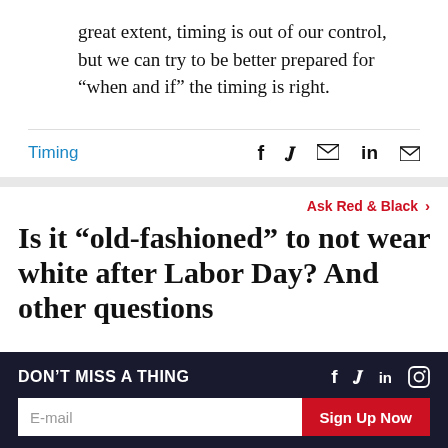great extent, timing is out of our control, but we can try to be better prepared for “when and if” the timing is right.
Timing
Ask Red & Black ›
Is it “old-fashioned” to not wear white after Labor Day? And other questions
DON’T MISS A THING
E-mail
Sign Up Now